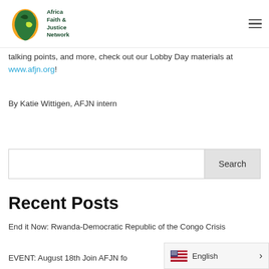[Figure (logo): Africa Faith & Justice Network logo — green Africa continent shape with a bird, and text 'Africa Faith & Justice Network']
talking points, and more, check out our Lobby Day materials at www.afjn.org!
By Katie Wittigen, AFJN intern
Search
Recent Posts
End it Now: Rwanda-Democratic Republic of the Congo Crisis
EVENT: August 18th Join AFJN fo...